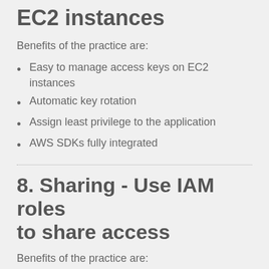EC2 instances
Benefits of the practice are:
Easy to manage access keys on EC2 instances
Automatic key rotation
Assign least privilege to the application
AWS SDKs fully integrated
8. Sharing - Use IAM roles to share access
Benefits of the practice are: